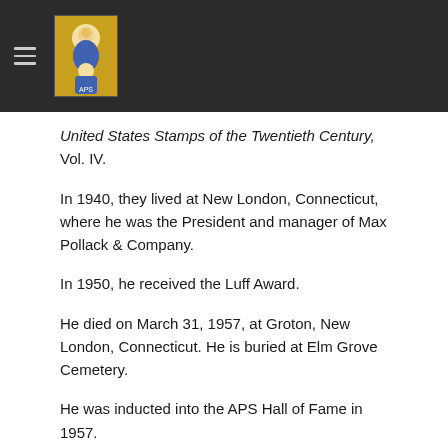[navigation header with logo]
United States Stamps of the Twentieth Century, Vol. IV.
In 1940, they lived at New London, Connecticut, where he was the President and manager of Max Pollack & Company.
In 1950, he received the Luff Award.
He died on March 31, 1957, at Groton, New London, Connecticut. He is buried at Elm Grove Cemetery.
He was inducted into the APS Hall of Fame in 1957.
Bibliography :
Stamps